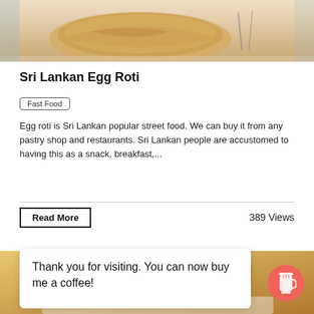[Figure (photo): Top portion of a food photo showing flatbread/roti on a plate]
Sri Lankan Egg Roti
Fast Food
Egg roti is Sri Lankan popular street food. We can buy it from any pastry shop and restaurants. Sri Lankan people are accustomed to having this as a snack, breakfast,...
Read More
389 Views
[Figure (photo): Bottom food photo showing fried spring rolls or similar fried food on a white plate]
Thank you for visiting. You can now buy me a coffee!